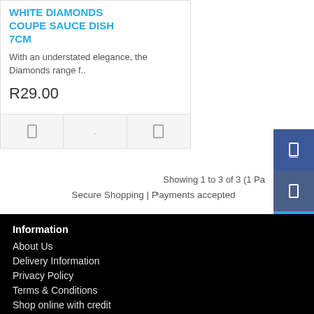WHITE DIAMONDS COUPE SAUCE DISH 7CM
With an understated elegance, the Diamonds range f..
R29.00
Showing 1 to 3 of 3 (1 Pa
Secure Shopping | Payments accepted
Information
About Us
Delivery Information
Privacy Policy
Terms & Conditions
Shop online with credit
Customer Service
Contact Us